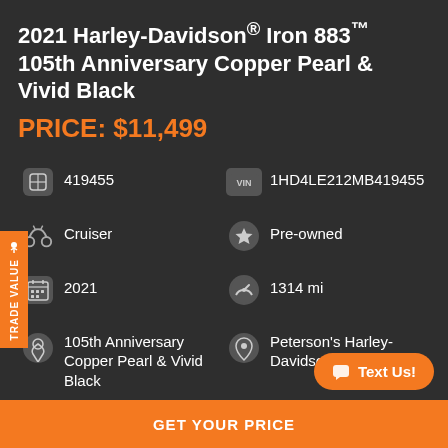2021 Harley-Davidson® Iron 883™ 105th Anniversary Copper Pearl & Vivid Black
PRICE: $11,499
| Icon | Value | Icon | Value |
| --- | --- | --- | --- |
| # (Stock) | 419455 | VIN | 1HD4LE212MB419455 |
| Motorcycle | Cruiser | Star | Pre-owned |
| Calendar | 2021 | Speedometer | 1314 mi |
| Paint | 105th Anniversary Copper Pearl & Vivid Black | Location | Peterson's Harley-Davidson of Miami |
GET YOUR PRICE
Text Us!
TRADE VALUE